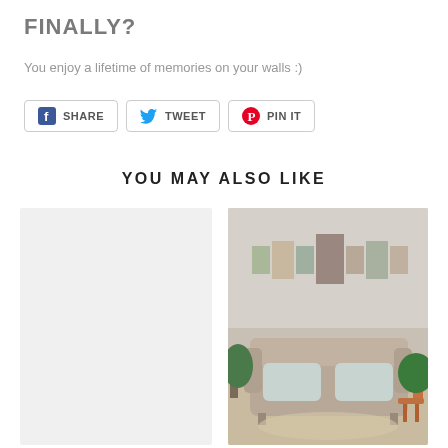FINALLY?
You enjoy a lifetime of memories on your walls :)
[Figure (other): Social share buttons: Facebook SHARE, Twitter TWEET, Pinterest PIN IT]
YOU MAY ALSO LIKE
[Figure (photo): Light gray placeholder product image (left)]
[Figure (photo): Photo of a living room with a beige sofa, green plants, and a multi-panel canvas wall art display showing a family portrait split across 7 panels]